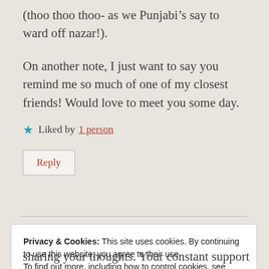(thoo thoo thoo- as we Punjabi’s say to ward off nazar!).
On another note, I just want to say you remind me so much of one of my closest friends! Would love to meet you some day.
★ Liked by 1 person
Reply
Privacy & Cookies: This site uses cookies. By continuing to use this website, you agree to their use.
To find out more, including how to control cookies, see here: Cookie Policy
Close and accept
sharing your thoughts. Your constant support